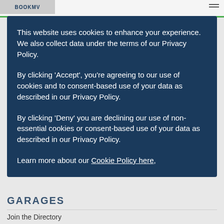BOOKMV
This website uses cookies to enhance your experience. We also collect data under the terms of our Privacy Policy.

By clicking 'Accept', you're agreeing to our use of cookies and to consent-based use of your data as described in our Privacy Policy.

By clicking 'Deny' you are declining our use of non-essential cookies or consent-based use of your data as described in our Privacy Policy.

Learn more about our Cookie Policy here,
GARAGES
Join the Directory